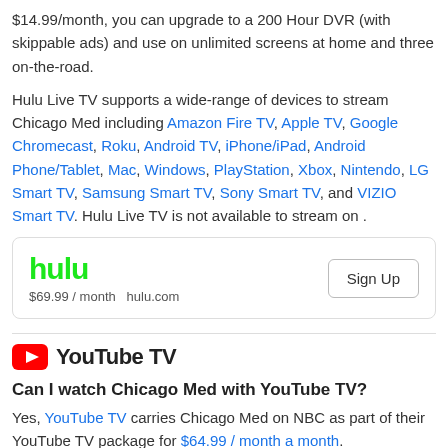$14.99/month, you can upgrade to a 200 Hour DVR (with skippable ads) and use on unlimited screens at home and three on-the-road.
Hulu Live TV supports a wide-range of devices to stream Chicago Med including Amazon Fire TV, Apple TV, Google Chromecast, Roku, Android TV, iPhone/iPad, Android Phone/Tablet, Mac, Windows, PlayStation, Xbox, Nintendo, LG Smart TV, Samsung Smart TV, Sony Smart TV, and VIZIO Smart TV. Hulu Live TV is not available to stream on .
[Figure (infographic): Hulu signup card showing logo, price $69.99 / month, hulu.com, and a Sign Up button]
[Figure (logo): YouTube TV logo with red play button icon and bold text 'YouTube TV']
Can I watch Chicago Med with YouTube TV?
Yes, YouTube TV carries Chicago Med on NBC as part of their YouTube TV package for $64.99 / month a month.